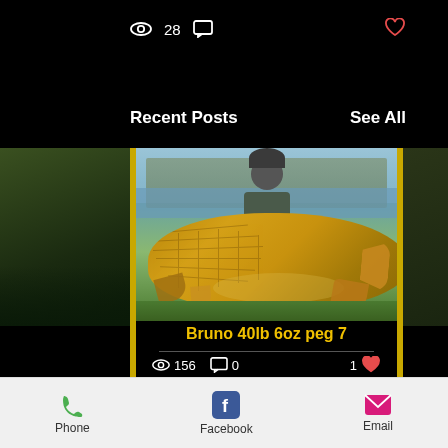[Figure (screenshot): Mobile app social post view. Top black bar with eye icon showing 28 views, chat icon, and heart icon top right. Recent Posts and See All labels. Central post card showing a man holding a large common carp fish at a lake, bordered in gold/yellow, with caption 'Bruno 40lb 6oz peg 7' in yellow text. Stats row: 156 views, 0 comments, 1 like. Bottom navigation bar with Phone (green), Facebook (blue), Email (pink) buttons.]
28
Recent Posts
See All
Bruno 40lb 6oz peg 7
156  0  1
Phone  Facebook  Email